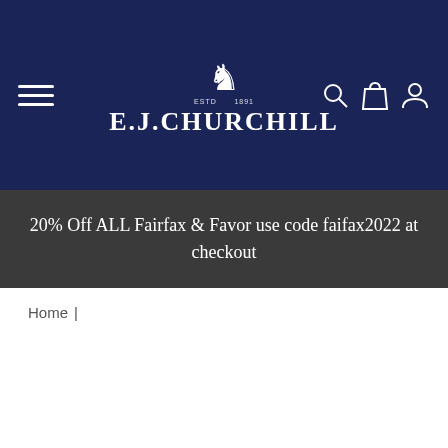[Figure (logo): E.J. Churchill logo with chess knight crest, white text on navy background, with hamburger menu icon and search/bag/user icons]
20% Off ALL Fairfax & Favor use code faifax2022 at checkout
Home |